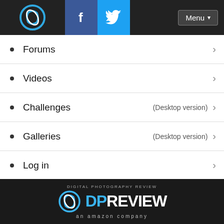[Figure (screenshot): Website header bar with DPReview logo, Facebook icon (blue), Twitter icon (light blue), and Menu button on dark background]
Forums
Videos
Challenges (Desktop version)
Galleries (Desktop version)
Log in
Reading mode
Light ☀
Dark ☾
Switch to Desktop mode
[Figure (logo): DPReview logo — Digital Photography Review — an amazon company, white and blue on dark background]